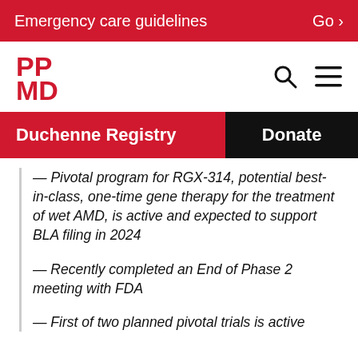Emergency care guidelines   Go >
[Figure (logo): PPMD logo in red with search and hamburger menu icons]
Duchenne Registry   Donate
— Pivotal program for RGX-314, potential best-in-class, one-time gene therapy for the treatment of wet AMD, is active and expected to support BLA filing in 2024
— Recently completed an End of Phase 2 meeting with FDA
— First of two planned pivotal trials is active